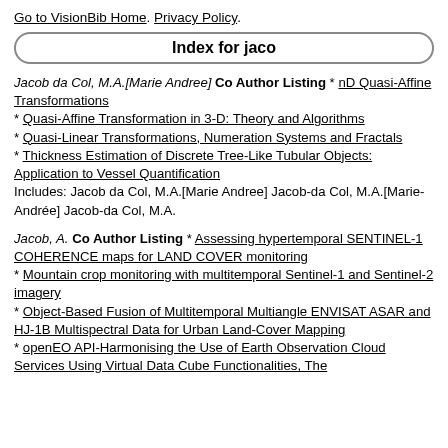Go to VisionBib Home. Privacy Policy.
Index for jaco
Jacob da Col, M.A.[Marie Andree] Co Author Listing * nD Quasi-Affine Transformations
* Quasi-Affine Transformation in 3-D: Theory and Algorithms
* Quasi-Linear Transformations, Numeration Systems and Fractals
* Thickness Estimation of Discrete Tree-Like Tubular Objects: Application to Vessel Quantification
Includes: Jacob da Col, M.A.[Marie Andree] Jacob-da Col, M.A.[Marie-Andrée] Jacob-da Col, M.A.
Jacob, A. Co Author Listing * Assessing hypertemporal SENTINEL-1 COHERENCE maps for LAND COVER monitoring
* Mountain crop monitoring with multitemporal Sentinel-1 and Sentinel-2 imagery
* Object-Based Fusion of Multitemporal Multiangle ENVISAT ASAR and HJ-1B Multispectral Data for Urban Land-Cover Mapping
* openEO API-Harmonising the Use of Earth Observation Cloud Services Using Virtual Data Cube Functionalities, The